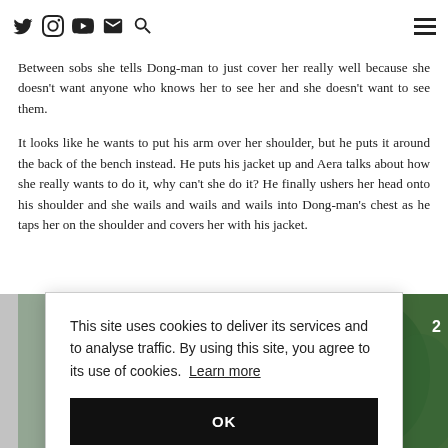[navigation bar with social icons and hamburger menu]
Between sobs she tells Dong-man to just cover her really well because she doesn't want anyone who knows her to see her and she doesn't want to see them.
It looks like he wants to put his arm over her shoulder, but he puts it around the back of the bench instead. He puts his jacket up and Aera talks about how she really wants to do it, why can't she do it? He finally ushers her head onto his shoulder and she wails and wails and wails into Dong-man's chest as he taps her on the shoulder and covers her with his jacket.
[Figure (photo): Photo strip showing people outdoors, partially visible behind cookie consent overlay. Number '2' visible in top right corner.]
This site uses cookies to deliver its services and to analyse traffic. By using this site, you agree to its use of cookies. Learn more
OK